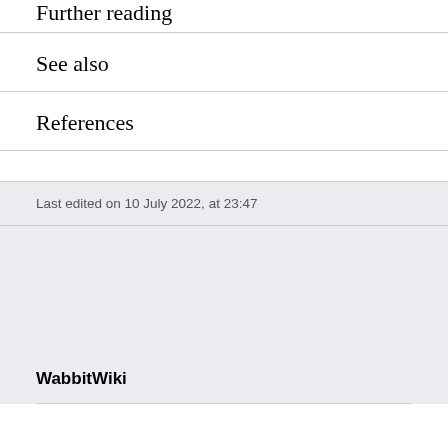Further reading
See also
References
Last edited on 10 July 2022, at 23:47
WabbitWiki